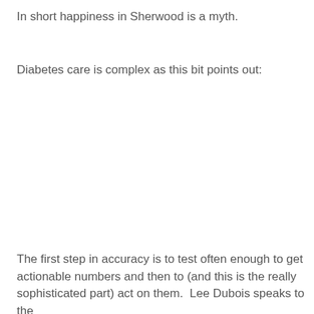In short happiness in Sherwood is a myth.
Diabetes care is complex as this bit points out:
The first step in accuracy is to test often enough to get actionable numbers and then to (and this is the really sophisticated part) act on them.  Lee Dubois speaks to the